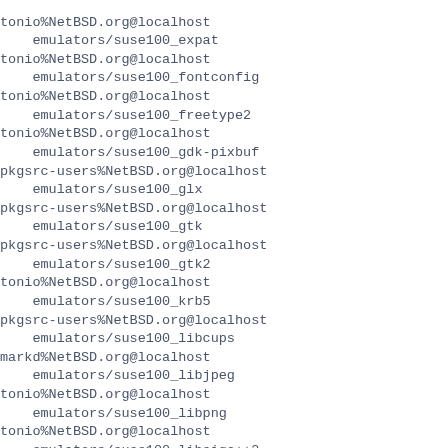tonio%NetBSD.org@localhost
    emulators/suse100_expat
tonio%NetBSD.org@localhost
    emulators/suse100_fontconfig
tonio%NetBSD.org@localhost
    emulators/suse100_freetype2
tonio%NetBSD.org@localhost
    emulators/suse100_gdk-pixbuf
pkgsrc-users%NetBSD.org@localhost
    emulators/suse100_glx
pkgsrc-users%NetBSD.org@localhost
    emulators/suse100_gtk
pkgsrc-users%NetBSD.org@localhost
    emulators/suse100_gtk2
tonio%NetBSD.org@localhost
    emulators/suse100_krb5
pkgsrc-users%NetBSD.org@localhost
    emulators/suse100_libcups
markd%NetBSD.org@localhost
    emulators/suse100_libjpeg
tonio%NetBSD.org@localhost
    emulators/suse100_libpng
tonio%NetBSD.org@localhost
    emulators/suse100_libsigc++2
tonio%NetBSD.org@localhost
    emulators/suse100_libtiff
tonio%NetBSD.org@localhost
    emulators/suse100_libxml2
pkgsrc-users%NetBSD.org@localhost
    emulators/suse100_locale